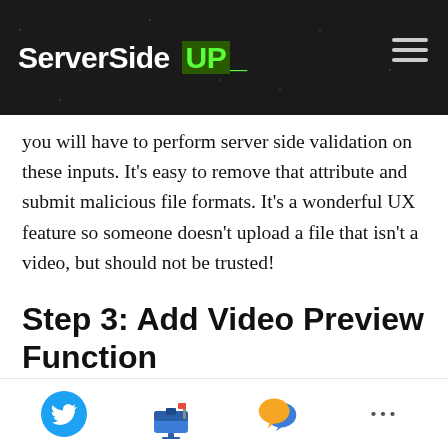ServerSide UP_
you will have to perform server side validation on these inputs. It’s easy to remove that attribute and submit malicious file formats. It’s a wonderful UX feature so someone doesn’t upload a file that isn’t a video, but should not be trusted!
Step 3: Add Video Preview Function
This function will look very similar to our image and audio file methods. To implement this, add the following to your methods: